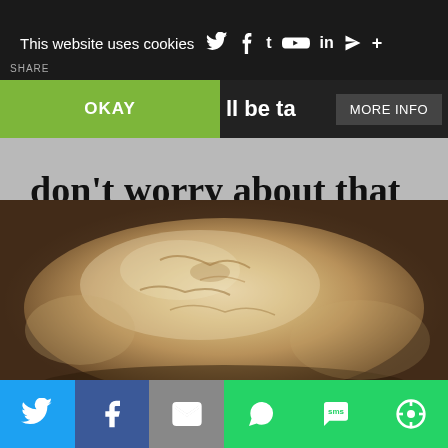This website uses cookies
OKAY   ll be ta...   MORE INFO
don't worry about that then let it rest for 30 minutes.
[Figure (photo): A ball of bread dough resting on a floured surface, viewed from above, with a rough textured surface.]
Share buttons: Twitter, Facebook, Email, WhatsApp, SMS, Other